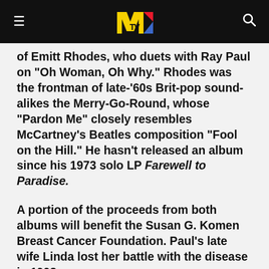MTV
of Emitt Rhodes, who duets with Ray Paul on "Oh Woman, Oh Why." Rhodes was the frontman of late-'60s Brit-pop sound-alikes the Merry-Go-Round, whose "Pardon Me" closely resembles McCartney's Beatles composition "Fool on the Hill." He hasn't released an album since his 1973 solo LP Farewell to Paradise.
A portion of the proceeds from both albums will benefit the Susan G. Komen Breast Cancer Foundation. Paul's late wife Linda lost her battle with the disease in 1998.
Track list for Listen to What the Man Said: Popular Artists Pay Tribute to the Music of Paul McCartney, according to the album's publicist: